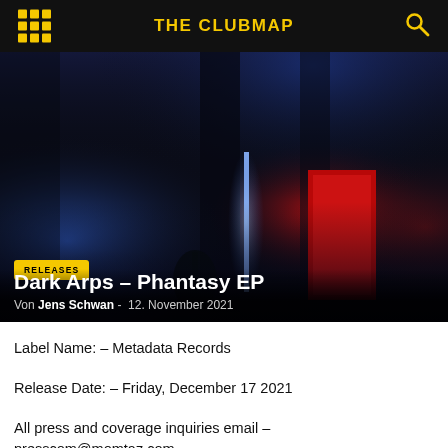THE CLUBMAP
[Figure (photo): Dark moody interior photo with blue and red lighting — a dark room with neon blue vertical light strip, a plant silhouette, and a glowing red doorway]
RELEASES
Dark Arps – Phantasy EP
Von Jens Schwan - 12. November 2021
Label Name: – Metadata Records
Release Date: – Friday, December 17 2021
All press and coverage inquiries email – presscom@momtaz.com